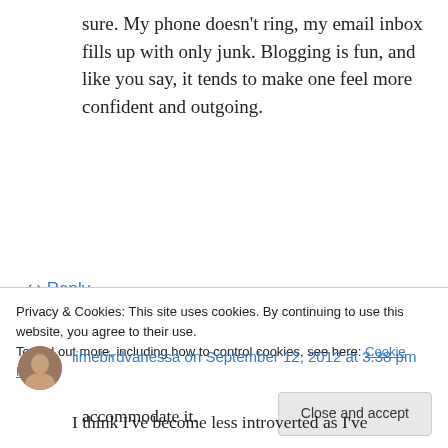sure. My phone doesn't ring, my email inbox fills up with only junk. Blogging is fun, and like you say, it tends to make one feel more confident and outgoing.
↪ Reply
limebirdvanessa on September 12, 2012 at 3:38 pm
I think I've become less introverted as I've
accommodate it.
Privacy & Cookies: This site uses cookies. By continuing to use this website, you agree to their use.
To find out more, including how to control cookies, see here: Cookie Policy
Close and accept